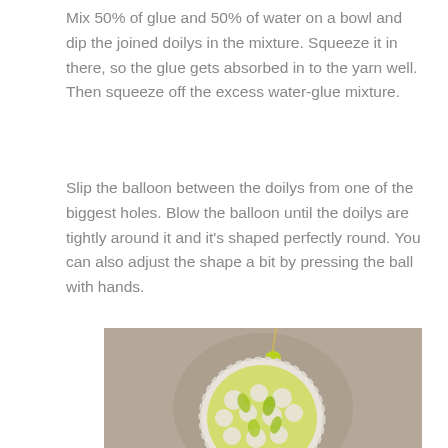Mix 50% of glue and 50% of water on a bowl and dip the joined doilys in the mixture. Squeeze it in there, so the glue gets absorbed in to the yarn well. Then squeeze off the excess water-glue mixture.
Slip the balloon between the doilys from one of the biggest holes. Blow the balloon until the doilys are tightly around it and it's shaped perfectly round. You can also adjust the shape a bit by pressing the ball with hands.
[Figure (photo): A white crocheted doily ball shaped ornament with yellow-green balloon visible through the lace holes, hanging from a string against a beige/taupe background.]